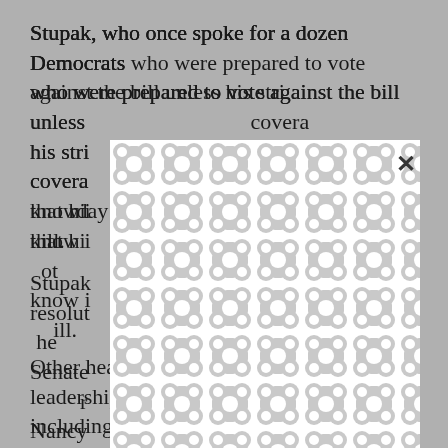Stupak, who once spoke for a dozen Democrats who were prepared to vote against the bill unless his strict abortion restrictions on insurance coverage were included, announced Saturday that his group of anti-abortion Democrats did not know if they would vote for or against the bill.
[Figure (other): A white modal/dialog box overlay with a repeating rounded blob/chain-link pattern in light gray on white background, with a close (X) button in the upper right corner.]
Stupak said Sunday he was also seeking a resolution to the abortion language, adding that the Senate's approach of allowing women to use a separate rider to purchase abortion coverage for Speaker Nancy Pelosi was a non-starter.
Other headaches continued to plague leadership, including Rep. Loretta Sanchez (D-Calif.), who senior aides said went on a fundraising trip to